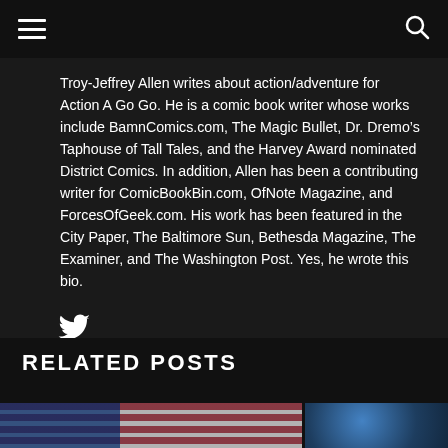Troy-Jeffrey Allen writes about action/adventure for Action A Go Go. He is a comic book writer whose works include BamnComics.com, The Magic Bullet, Dr. Dremo’s Taphouse of Tall Tales, and the Harvey Award nominated District Comics. In addition, Allen has been a contributing writer for ComicBookBin.com, OfNote Magazine, and ForcesOfGeek.com. His work has been featured in the City Paper, The Baltimore Sun, Bethesda Magazine, The Examiner, and The Washington Post. Yes, he wrote this bio.
[Figure (illustration): Twitter bird icon]
RELATED POSTS
[Figure (photo): Left image showing an American flag with a female comic book character holding a gun]
[Figure (photo): Right image showing a blue-colored figure or character]